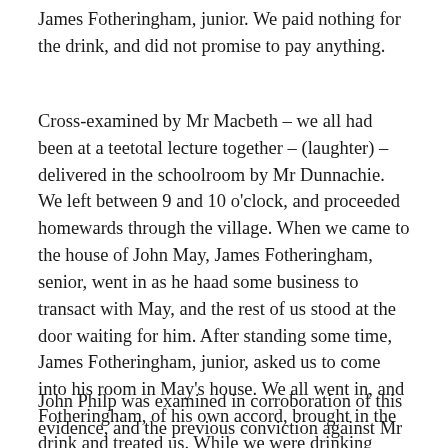James Fotheringham, junior. We paid nothing for the drink, and did not promise to pay anything.
Cross-examined by Mr Macbeth – we all had been at a teetotal lecture together – (laughter) – delivered in the schoolroom by Mr Dunnachie. We left between 9 and 10 o'clock, and proceeded homewards through the village. When we came to the house of John May, James Fotheringham, senior, went in as he haad some business to transact with May, and the rest of us stood at the door waiting for him. After standing some time, James Fotheringham, junior, asked us to come into his room in May's house. We all went in, and Fotheringham, of his own accord, brought in the drink and treated us. While we were drinking Inspector Napier came in, and he was told we were really there as friends.
John Philp was examined in corroboration of this evidence, and the previous conviction against Mr May was admitted by